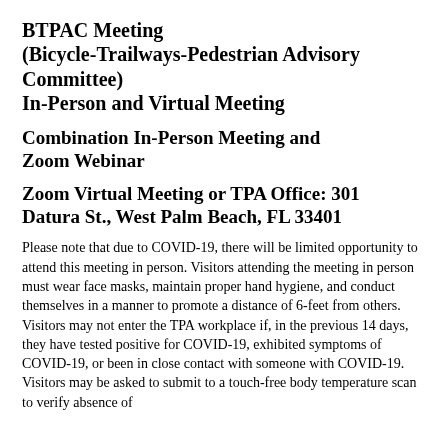BTPAC Meeting (Bicycle-Trailways-Pedestrian Advisory Committee) In-Person and Virtual Meeting
Combination In-Person Meeting and Zoom Webinar
Zoom Virtual Meeting or TPA Office: 301 Datura St., West Palm Beach, FL 33401
Please note that due to COVID-19, there will be limited opportunity to attend this meeting in person. Visitors attending the meeting in person must wear face masks, maintain proper hand hygiene, and conduct themselves in a manner to promote a distance of 6-feet from others. Visitors may not enter the TPA workplace if, in the previous 14 days, they have tested positive for COVID-19, exhibited symptoms of COVID-19, or been in close contact with someone with COVID-19. Visitors may be asked to submit to a touch-free body temperature scan to verify absence of